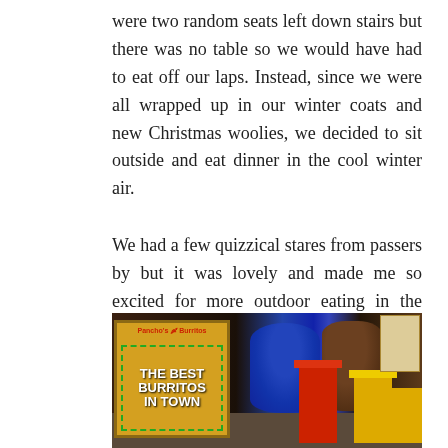were two random seats left down stairs but there was no table so we would have had to eat off our laps. Instead, since we were all wrapped up in our winter coats and new Christmas woolies, we decided to sit outside and eat dinner in the cool winter air.
We had a few quizzical stares from passers by but it was lovely and made me so excited for more outdoor eating in the spring.
[Figure (photo): Interior/exterior of a burrito restaurant showing a sign reading 'THE BEST BURRITOS IN TOWN' (Pancho's Burritos), blue barrel tables, red and yellow metal stools, and a dark wooden barrel in the background.]